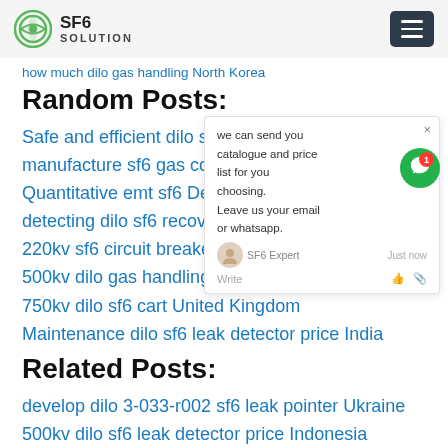SF6 SOLUTION
how much dilo gas handling North Korea
Random Posts:
Safe and efficient dilo sf6 detector Russ…
manufacture sf6 gas cost India
Quantitative emt sf6 Denmark
detecting dilo sf6 recovery India
220kv sf6 circuit breaker price Pakis… p…
500kv dilo gas handling equipment Pakis…
750kv dilo sf6 cart United Kingdom
Maintenance dilo sf6 leak detector price India
Related Posts:
develop dilo 3-033-r002 sf6 leak pointer Ukraine
500kv dilo sf6 leak detector price Indonesia